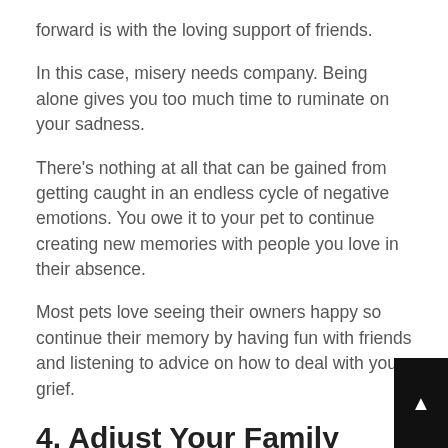forward is with the loving support of friends.
In this case, misery needs company. Being alone gives you too much time to ruminate on your sadness.
There's nothing at all that can be gained from getting caught in an endless cycle of negative emotions. You owe it to your pet to continue creating new memories with people you love in their absence.
Most pets love seeing their owners happy so continue their memory by having fun with friends and listening to advice on how to deal with your grief.
4. Adjust Your Family Identity
If your children have grown up knowing your pet,